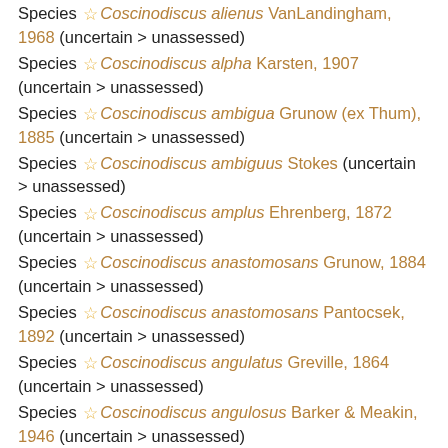Species ☆ Coscinodiscus alienus VanLandingham, 1968 (uncertain > unassessed)
Species ☆ Coscinodiscus alpha Karsten, 1907 (uncertain > unassessed)
Species ☆ Coscinodiscus ambigua Grunow (ex Thum), 1885 (uncertain > unassessed)
Species ☆ Coscinodiscus ambiguus Stokes (uncertain > unassessed)
Species ☆ Coscinodiscus amplus Ehrenberg, 1872 (uncertain > unassessed)
Species ☆ Coscinodiscus anastomosans Grunow, 1884 (uncertain > unassessed)
Species ☆ Coscinodiscus anastomosans Pantocsek, 1892 (uncertain > unassessed)
Species ☆ Coscinodiscus angulatus Greville, 1864 (uncertain > unassessed)
Species ☆ Coscinodiscus angulosus Barker & Meakin, 1946 (uncertain > unassessed)
Species ☆ Coscinodiscus angulosus Greville in Tempere & Peragallo (uncertain > unassessed)
Species ☆ Coscinodiscus angustelineatus Schmidt in Schmidt et al., 1878 (uncertain >